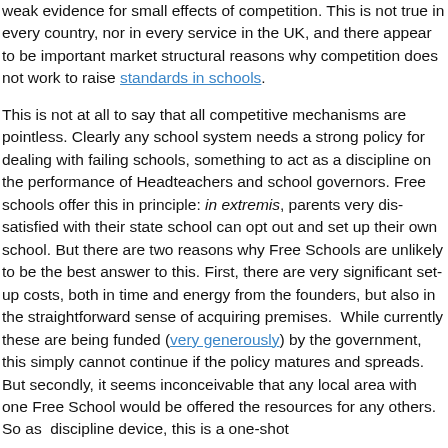weak evidence for small effects of competition. This is not true in every country, nor in every service in the UK, and there appear to be important market structural reasons why competition does not work to raise standards in schools.

This is not at all to say that all competitive mechanisms are pointless. Clearly any school system needs a strong policy for dealing with failing schools, something to act as a discipline on the performance of Headteachers and school governors. Free schools offer this in principle: in extremis, parents very dis-satisfied with their state school can opt out and set up their own school. But there are two reasons why Free Schools are unlikely to be the best answer to this. First, there are very significant set-up costs, both in time and energy from the founders, but also in the straightforward sense of acquiring premises.  While currently these are being funded (very generously) by the government, this simply cannot continue if the policy matures and spreads. But secondly, it seems inconceivable that any local area with one Free School would be offered the resources for any others. So as  discipline device, this is a one-shot